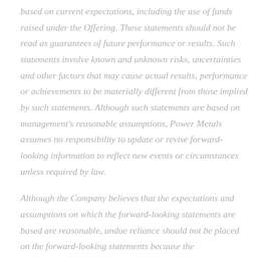based on current expectations, including the use of funds raised under the Offering. These statements should not be read as guarantees of future performance or results. Such statements involve known and unknown risks, uncertainties and other factors that may cause actual results, performance or achievements to be materially different from those implied by such statements. Although such statements are based on management's reasonable assumptions, Power Metals assumes no responsibility to update or revise forward-looking information to reflect new events or circumstances unless required by law.
Although the Company believes that the expectations and assumptions on which the forward-looking statements are based are reasonable, undue reliance should not be placed on the forward-looking statements because the